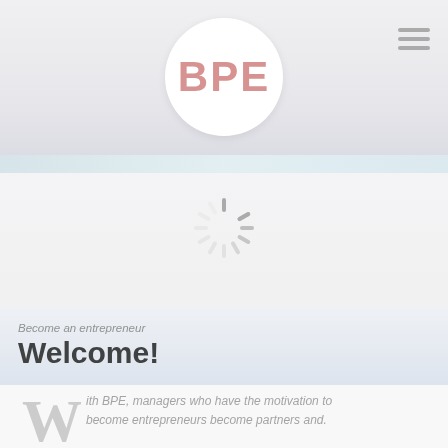[Figure (logo): BPE circular logo — white circle with red/rose-colored bold text 'BPE' centered inside]
[Figure (infographic): Loading spinner (radial dashes) centered in the middle content area]
Become an entrepreneur
Welcome!
With BPE, managers who have the motivation to become entrepreneurs become partners and.